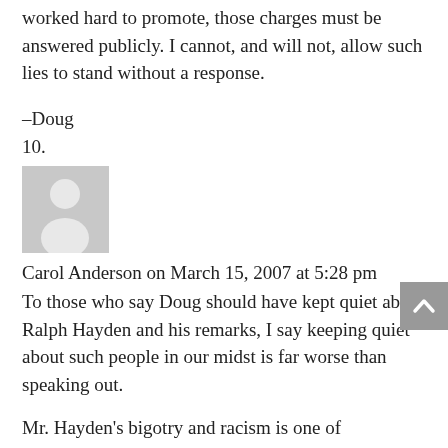worked hard to promote, those charges must be answered publicly. I cannot, and will not, allow such lies to stand without a response.
–Doug
10.
[Figure (illustration): Generic grey avatar/silhouette placeholder image for a user profile photo]
Carol Anderson on March 15, 2007 at 5:28 pm
To those who say Doug should have kept quiet about Ralph Hayden and his remarks, I say keeping quiet about such people in our midst is far worse than speaking out.
Mr. Hayden's bigotry and racism is one of